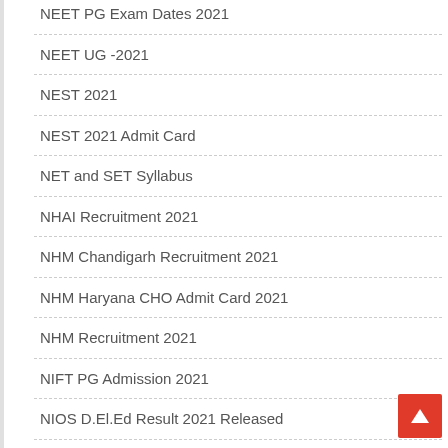NEET PG Exam Dates 2021
NEET UG -2021
NEST  2021
NEST 2021 Admit Card
NET and SET Syllabus
NHAI Recruitment 2021
NHM Chandigarh Recruitment 2021
NHM Haryana CHO Admit Card 2021
NHM Recruitment 2021
NIFT PG Admission 2021
NIOS D.El.Ed Result 2021 Released
NMDC Recruitment 2021
NMDC Recruitment GATE 2021